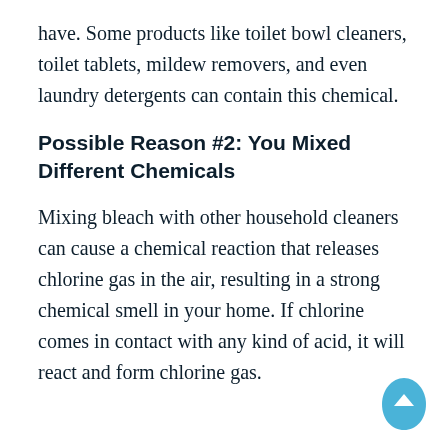have. Some products like toilet bowl cleaners, toilet tablets, mildew removers, and even laundry detergents can contain this chemical.
Possible Reason #2: You Mixed Different Chemicals
Mixing bleach with other household cleaners can cause a chemical reaction that releases chlorine gas in the air, resulting in a strong chemical smell in your home. If chlorine comes in contact with any kind of acid, it will react and form chlorine gas.